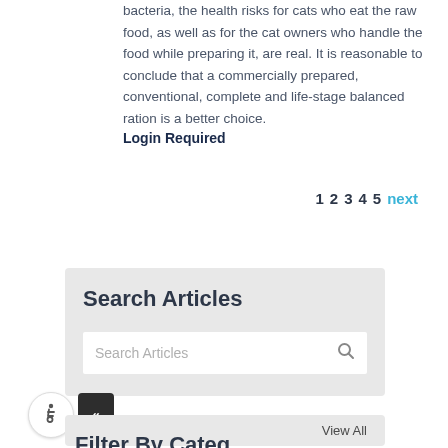bacteria, the health risks for cats who eat the raw food, as well as for the cat owners who handle the food while preparing it, are real. It is reasonable to conclude that a commercially prepared, conventional, complete and life-stage balanced ration is a better choice.
Login Required
1 2 3 4 5 next
Search Articles
[Figure (screenshot): Search Articles input box with placeholder text 'Search Articles' and a magnifying glass search icon on the right]
[Figure (other): Accessibility widget with wheelchair icon button and a collapse arrow button]
View All
Filter By Categ...